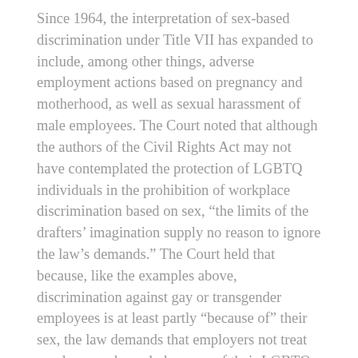Since 1964, the interpretation of sex-based discrimination under Title VII has expanded to include, among other things, adverse employment actions based on pregnancy and motherhood, as well as sexual harassment of male employees. The Court noted that although the authors of the Civil Rights Act may not have contemplated the protection of LGBTQ individuals in the prohibition of workplace discrimination based on sex, “the limits of the drafters’ imagination supply no reason to ignore the law’s demands.” The Court held that because, like the examples above, discrimination against gay or transgender employees is at least partly “because of” their sex, the law demands that employers not treat employees adversely because of their LGBTQ status.
In California, the Fair Employment and Housing Act (“FEHA”) protects employees from discrimination based on sexual orientation, gender identity, and gender expression, including transgender status. Additionally, California